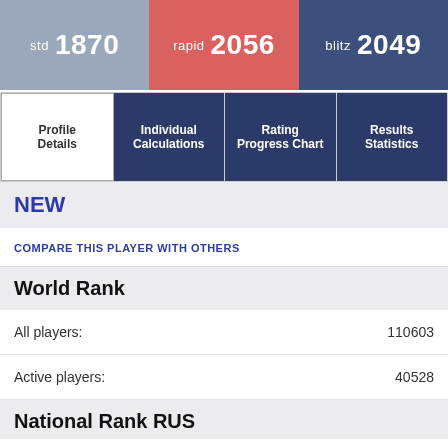std 1870 | rapid 2056 | blitz 2049
Profile Details | Individual Calculations | Rating Progress Chart | Results Statistics
NEW
COMPARE THIS PLAYER WITH OTHERS
World Rank
All players: 110603
Active players: 40528
National Rank RUS